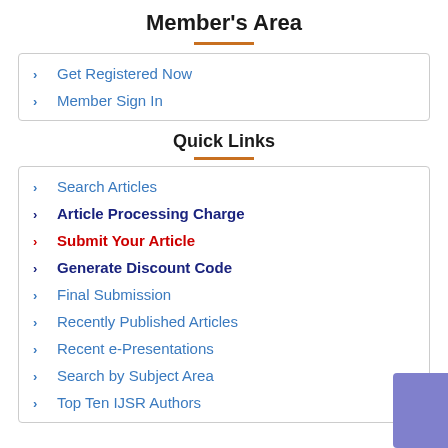Member's Area
Get Registered Now
Member Sign In
Quick Links
Search Articles
Article Processing Charge
Submit Your Article
Generate Discount Code
Final Submission
Recently Published Articles
Recent e-Presentations
Search by Subject Area
Top Ten IJSR Authors